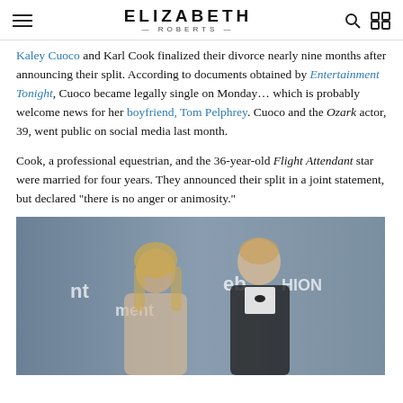ELIZABETH ROBERTS
Kaley Cuoco and Karl Cook finalized their divorce nearly nine months after announcing their split. According to documents obtained by Entertainment Tonight, Cuoco became legally single on Monday... which is probably welcome news for her boyfriend, Tom Pelphrey. Cuoco and the Ozark actor, 39, went public on social media last month.
Cook, a professional equestrian, and the 36-year-old Flight Attendant star were married for four years. They announced their split in a joint statement, but declared "there is no anger or animosity."
[Figure (photo): Photo of Kaley Cuoco and Karl Cook at a formal event with ebay fashion backdrop, woman with blonde hair and man in tuxedo]